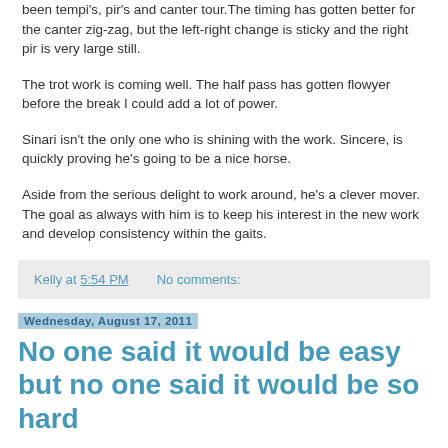been tempi's, pir's and canter tour.The timing has gotten better for the canter zig-zag, but the left-right change is sticky and the right pir is very large still.
The trot work is coming well. The half pass has gotten flowyer before the break I could add a lot of power.
Sinari isn't the only one who is shining with the work. Sincere, is quickly proving he's going to be a nice horse.
Aside from the serious delight to work around, he's a clever mover. The goal as always with him is to keep his interest in the new work and develop consistency within the gaits.
Kelly at 5:54 PM    No comments:
Wednesday, August 17, 2011
No one said it would be easy but no one said it would be so hard